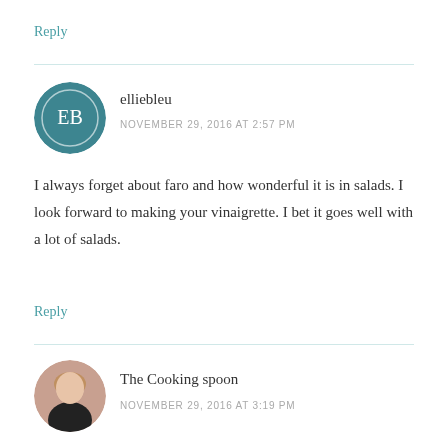Reply
[Figure (photo): Avatar of elliebleu, a circular image with teal background and EB initials]
elliebleu
NOVEMBER 29, 2016 AT 2:57 PM
I always forget about faro and how wonderful it is in salads. I look forward to making your vinaigrette. I bet it goes well with a lot of salads.
Reply
[Figure (photo): Avatar of The Cooking spoon, a photo of a woman with blonde hair and a dark top]
The Cooking spoon
NOVEMBER 29, 2016 AT 3:19 PM